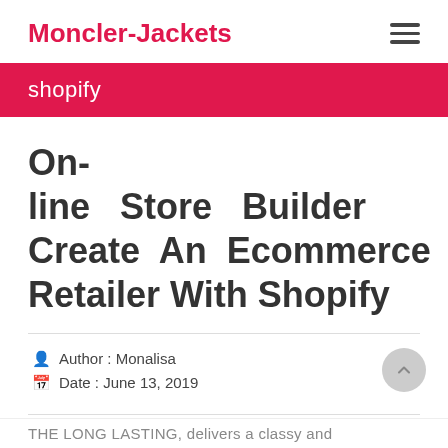Moncler-Jackets
shopify
On-line Store Builder Create An Ecommerce Retailer With Shopify
Author : Monalisa
Date : June 13, 2019
THE LONG LASTING, delivers a classy and